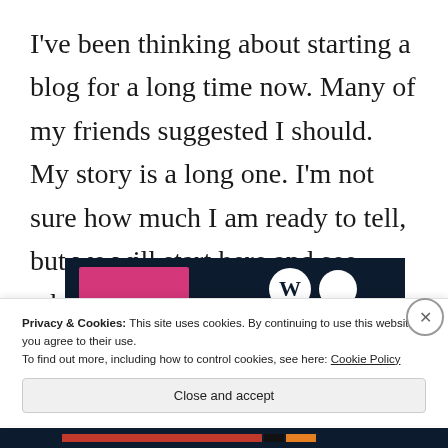I've been thinking about starting a blog for a long time now. Many of my friends suggested I should. My story is a long one. I'm not sure how much I am ready to tell, but we will start here and see where we end up together, ok?
[Figure (screenshot): Partial screenshot of a blog website showing a dark header with a pink/magenta element and circular logo icons]
Privacy & Cookies: This site uses cookies. By continuing to use this website, you agree to their use.
To find out more, including how to control cookies, see here: Cookie Policy
Close and accept